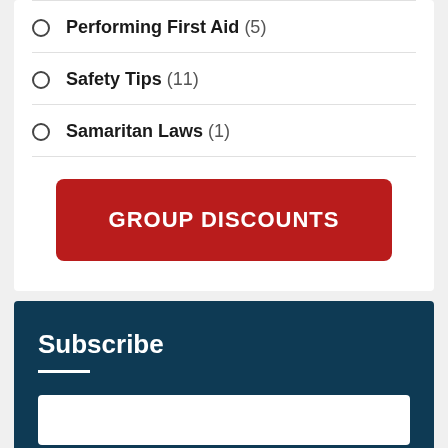Performing First Aid (5)
Safety Tips (11)
Samaritan Laws (1)
GROUP DISCOUNTS
Subscribe